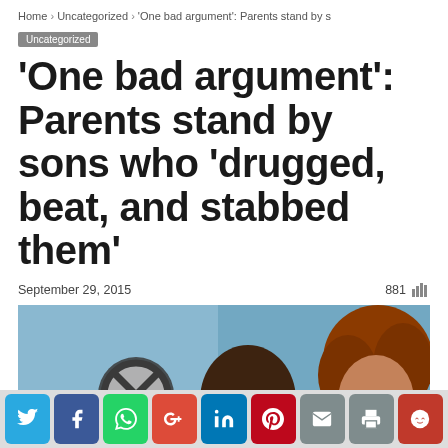Home > Uncategorized > 'One bad argument': Parents stand by s
Uncategorized
‘One bad argument’: Parents stand by sons who ‘drugged, beat, and stabbed them’
September 29, 2015   881
[Figure (photo): Two people sitting, a man with a serious expression on the left and a woman with curly reddish hair on the right, in what appears to be a TV studio setting with a blue background and a circular logo.]